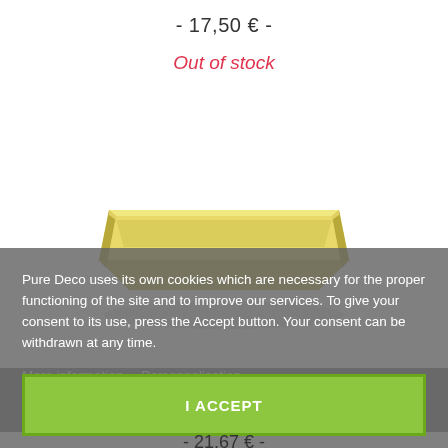- 17,50 € -
Out of stock
[Figure (photo): A yellow/cream colored rectangular flat tray or baking sheet, viewed at a slight angle, with a raised rim.]
Pure Deco uses its own cookies which are necessary for the proper functioning of the site and to improve our services. To give your consent to its use, press the Accept button. Your consent can be withdrawn at any time.
More information   Personnalisation
I ACCEPT
- 21,67 € -